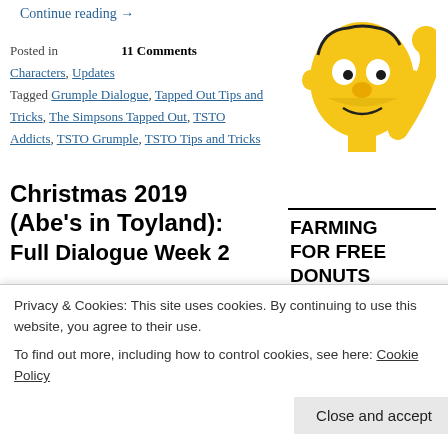Continue reading →
Posted in    11 Comments
Characters, Updates
Tagged Grumple Dialogue, Tapped Out Tips and Tricks, The Simpsons Tapped Out, TSTO Addicts, TSTO Grumple, TSTO Tips and Tricks
[Figure (illustration): Homer Simpson cartoon character raising arm]
FARMING FOR FREE DONUTS
[Figure (screenshot): Donut Farming screenshot from The Simpsons Tapped Out game]
Christmas 2019 (Abe's in Toyland): Full Dialogue Week 2
Hey Howdy Hey Tappers!
Privacy & Cookies: This site uses cookies. By continuing to use this website, you agree to their use.
To find out more, including how to control cookies, see here: Cookie Policy
Close and accept